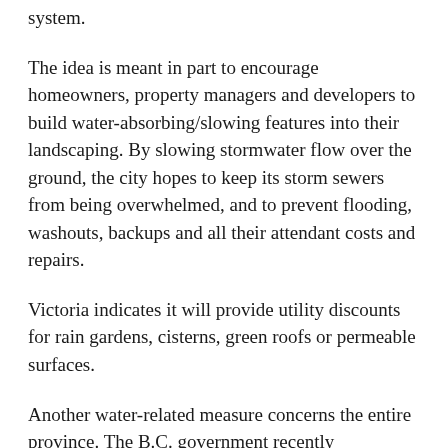system.
The idea is meant in part to encourage homeowners, property managers and developers to build water-absorbing/slowing features into their landscaping. By slowing stormwater flow over the ground, the city hopes to keep its storm sewers from being overwhelmed, and to prevent flooding, washouts, backups and all their attendant costs and repairs.
Victoria indicates it will provide utility discounts for rain gardens, cisterns, green roofs or permeable surfaces.
Another water-related measure concerns the entire province. The B.C. government recently announced new legislation to replace the century-old B.C. Water Act. The Water Sustainability Act is due to come into effect next spring. Although we've yet to see how far it and the accompanying regulations will go in protecting our water